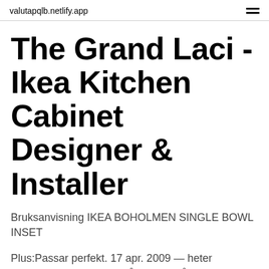valutapqlb.netlify.app
The Grand Laci - Ikea Kitchen Cabinet Designer & Installer
Bruksanvisning IKEA BOHOLMEN SINGLE BOWL INSET
Plus:Passar perfekt. 17 apr. 2009 — heter Elverdam och kommer från IKEA. Vår temporära